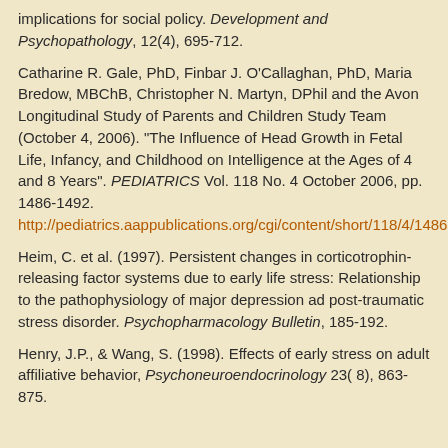implications for social policy. Development and Psychopathology, 12(4), 695-712.
Catharine R. Gale, PhD, Finbar J. O'Callaghan, PhD, Maria Bredow, MBChB, Christopher N. Martyn, DPhil and the Avon Longitudinal Study of Parents and Children Study Team (October 4, 2006). "The Influence of Head Growth in Fetal Life, Infancy, and Childhood on Intelligence at the Ages of 4 and 8 Years". PEDIATRICS Vol. 118 No. 4 October 2006, pp. 1486-1492. http://pediatrics.aappublications.org/cgi/content/short/118/4/1486.
Heim, C. et al. (1997). Persistent changes in corticotrophin-releasing factor systems due to early life stress: Relationship to the pathophysiology of major depression ad post-traumatic stress disorder. Psychopharmacology Bulletin, 185-192.
Henry, J.P., & Wang, S. (1998). Effects of early stress on adult affiliative behavior, Psychoneuroendocrinology 23( 8), 863-875.